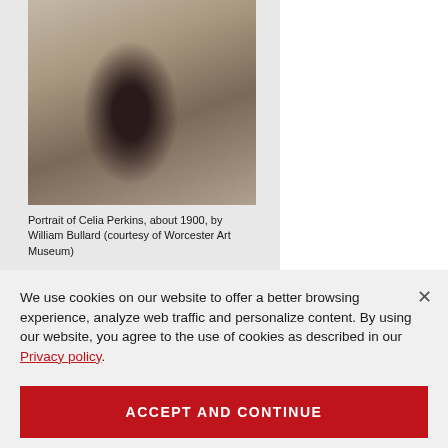[Figure (photo): Black and white / sepia portrait photograph of Celia Perkins, about 1900, seated outdoors, wearing dark clothing. Photo by William Bullard, courtesy of Worcester Art Museum.]
Portrait of Celia Perkins, about 1900, by William Bullard (courtesy of Worcester Art Museum)
We use cookies on our website to offer a better browsing experience, analyze web traffic and personalize content. By using our website, you agree to the use of cookies as described in our Privacy policy.
ACCEPT AND CONTINUE